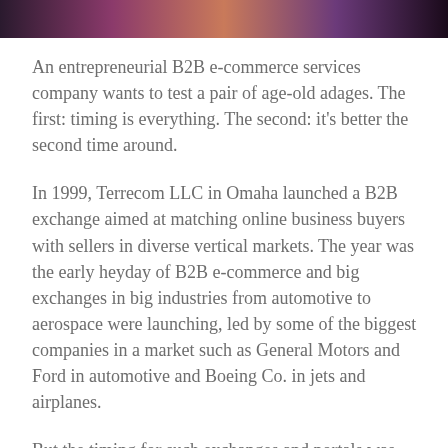[Figure (photo): Cropped photo strip at top of page showing a blurred/darkened scene with purple, pink, and warm orange tones — appears to be a social or event setting.]
An entrepreneurial B2B e-commerce services company wants to test a pair of age-old adages. The first: timing is everything. The second: it's better the second time around.
In 1999, Terrecom LLC in Omaha launched a B2B exchange aimed at matching online business buyers with sellers in diverse vertical markets. The year was the early heyday of B2B e-commerce and big exchanges in big industries from automotive to aerospace were launching, led by some of the biggest companies in a market such as General Motors and Ford in automotive and Boeing Co. in jets and airplanes.
But the timing for such exchanges and portals was premature and in most industries never took hold for a variety of reasons, including a lack of buyers, sellers, connectivity and e-commerce technology and the dotcom crash of 2000 and